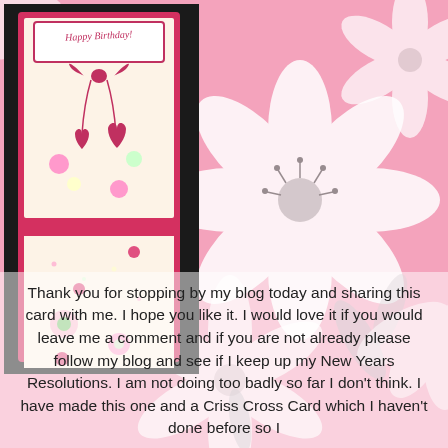[Figure (photo): A handmade birthday card with pink border, decorative bow, hanging hearts, and flower embellishments with pink gem accents, photographed against a black background]
Thank you for stopping by my blog today and sharing this card with me.  I hope you like it.  I would love it if you would leave me a comment and if you are not already please follow my blog and see if I keep up my New Years Resolutions.  I am not doing too badly so far I don't think.  I have made this one and a Criss Cross Card which I haven't done before so I